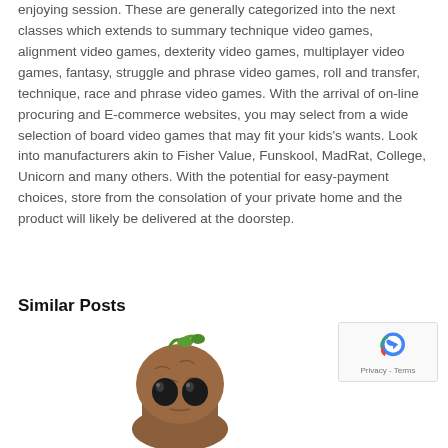enjoying session. These are generally categorized into the next classes which extends to summary technique video games, alignment video games, dexterity video games, multiplayer video games, fantasy, struggle and phrase video games, roll and transfer, technique, race and phrase video games. With the arrival of on-line procuring and E-commerce websites, you may select from a wide selection of board video games that may fit your kids's wants. Look into manufacturers akin to Fisher Value, Funskool, MadRat, College, Unicorn and many others. With the potential for easy-payment choices, store from the consolation of your private home and the product will likely be delivered at the doorstep.
Similar Posts
[Figure (illustration): Baby Groot character figurine with brown tree-bark body and large dark eyes, with green sprouts on top]
[Figure (other): reCAPTCHA privacy badge with blue and red shield logo and Privacy - Terms text]